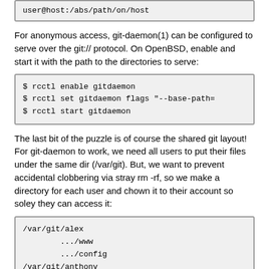[Figure (screenshot): Code box snippet showing: user@host:/abs/path/on/host]
For anonymous access, git-daemon(1) can be configured to serve over the git:// protocol. On OpenBSD, enable and start it with the path to the directories to serve:
[Figure (screenshot): Terminal commands: $ rcctl enable gitdaemon / $ rcctl set gitdaemon flags "--base-path= / $ rcctl start gitdaemon]
The last bit of the puzzle is of course the shared git layout! For git-daemon to work, we need all users to put their files under the same dir (/var/git). But, we want to prevent accidental clobbering via stray rm -rf, so we make a directory for each user and chown it to their account so soley they can access it:
[Figure (screenshot): Directory listing: /var/git/alex, .../www, .../config, /var/git/anthony, ...]